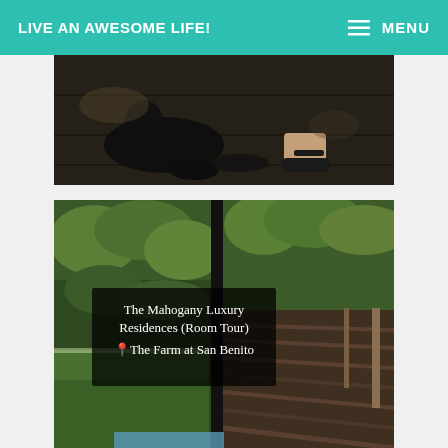LIVE AN AWESOME LIFE! MENU
[Figure (photo): Photo of a person in dark clothing lying or sitting on a dark wooden floor, with another person's sandal-clad feet visible beside them.]
[Figure (photo): Photo of The Mahogany Luxury Residences room tour at The Farm at San Benito, showing lush tropical greenery through floor-to-ceiling glass windows, with a deck and pool visible.]